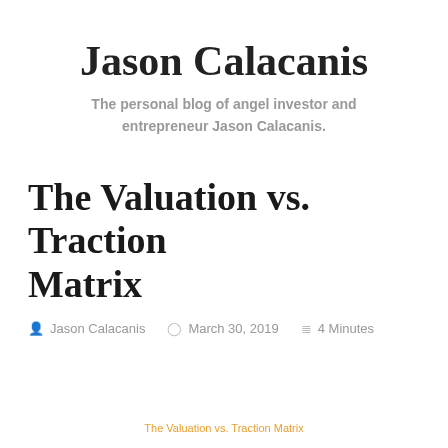Jason Calacanis
The personal blog of angel investor and entrepreneur Jason Calacanis.
The Valuation vs. Traction Matrix
Jason Calacanis   March 30, 2019   4 Minutes
The Valuation vs. Traction Matrix